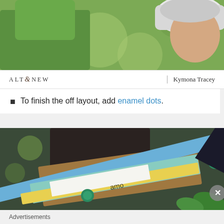[Figure (photo): Cropped photo of a person wearing green top and white cap, with blurred green background]
ALTENEW | Kymona Tracey
To finish the off layout, add enamel dots.
[Figure (photo): Close-up photo of craft/scrapbooking materials including colored paper strips, enamel dots, and handwritten text]
Advertisements